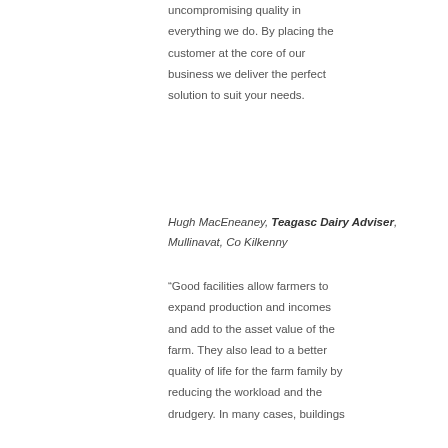uncompromising quality in everything we do. By placing the customer at the core of our business we deliver the perfect solution to suit your needs.
Hugh MacEneaney, Teagasc Dairy Adviser, Mullinavat, Co Kilkenny
“Good facilities allow farmers to expand production and incomes and add to the asset value of the farm. They also lead to a better quality of life for the farm family by reducing the workload and the drudgery. In many cases, buildings